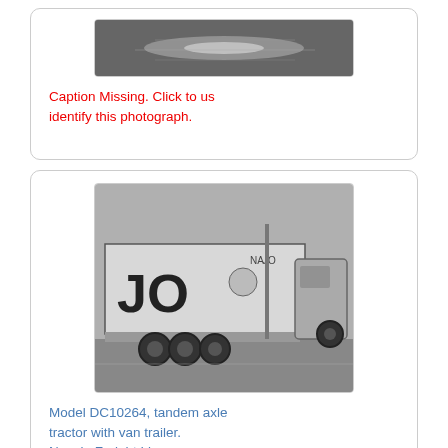[Figure (photo): Black and white photograph, partially visible, showing what appears to be a reflective water or road surface.]
Caption Missing. Click to us identify this photograph.
[Figure (photo): Black and white photograph of a tandem axle tractor with van trailer. The side of the trailer shows large letters 'JO' and Navajo branding. A second truck is visible in the background.]
Model DC10264, tandem axle tractor with van trailer. Navajo Freight Lines. Albuquerque, NM 1955